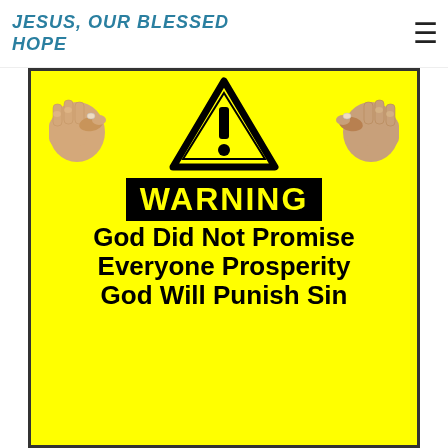JESUS, OUR BLESSED HOPE
[Figure (illustration): Yellow warning sign with two pointing fists on either side of a black warning triangle with exclamation mark. Below the triangle is a black 'WARNING' box with yellow text, followed by bold black text reading 'God Did Not Promise Everyone Prosperity God Will Punish Sin']